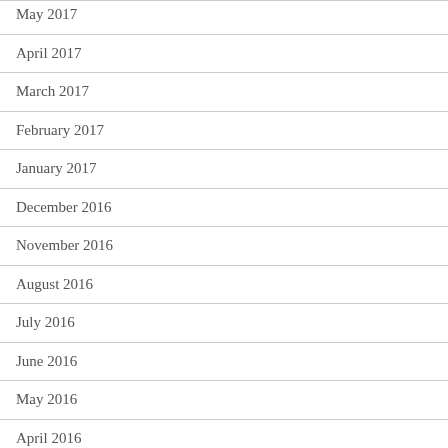May 2017
April 2017
March 2017
February 2017
January 2017
December 2016
November 2016
August 2016
July 2016
June 2016
May 2016
April 2016